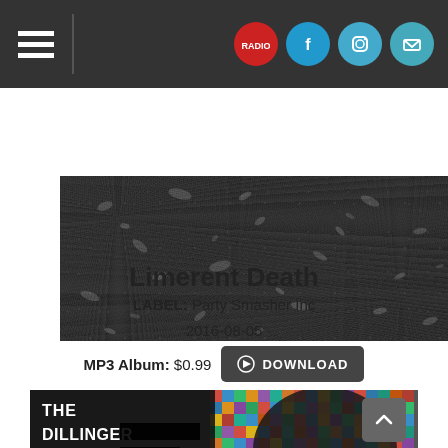[Figure (screenshot): Website navigation bar with hamburger menu icon on left and social media icons (brand logo, Facebook, Instagram, Email) on right, dark grey background]
[Figure (photo): Dark gravel/aggregate texture banner image in black and white]
Limerent Death
LABEL: Party Smasher Inc
2016-08-05
MP3 Album: $0.99  DOWNLOAD
[Figure (photo): The Dillinger Escape Plan 'Option Paralysis' album art mosaic collage with band name text overlay]